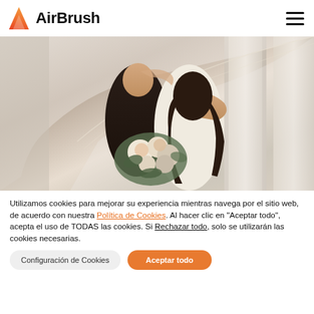AirBrush
[Figure (photo): Wedding couple kissing under a veil, groom in black tuxedo, bride holding a white and green floral bouquet, light stone columns in background]
Utilizamos cookies para mejorar su experiencia mientras navega por el sitio web, de acuerdo con nuestra Política de Cookies. Al hacer clic en "Aceptar todo", acepta el uso de TODAS las cookies. Si Rechazar todo, solo se utilizarán las cookies necesarias.
Configuración de Cookies
Aceptar todo